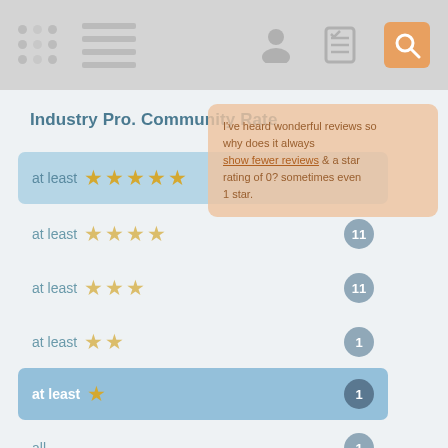Navigation bar with icons
Industry Pro. Community Rate
[Figure (screenshot): Tooltip/popup overlay with text about community ratings and a link]
at least 5 stars - highlighted row with badge 11
at least 4 stars - row with badge 11
at least 3 stars - row with badge 1
at least 2 stars - row with badge 11
at least 1 star - highlighted row with badge 1
all - row with badge 1